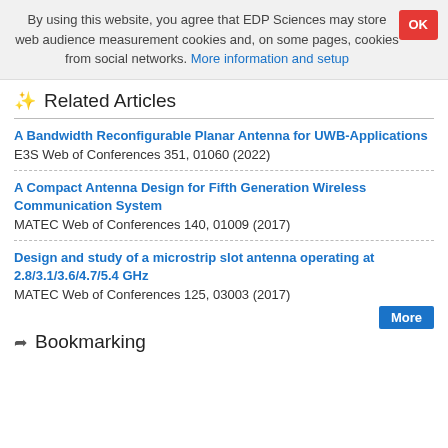By using this website, you agree that EDP Sciences may store web audience measurement cookies and, on some pages, cookies from social networks. More information and setup
Related Articles
A Bandwidth Reconfigurable Planar Antenna for UWB-Applications
E3S Web of Conferences 351, 01060 (2022)
A Compact Antenna Design for Fifth Generation Wireless Communication System
MATEC Web of Conferences 140, 01009 (2017)
Design and study of a microstrip slot antenna operating at 2.8/3.1/3.6/4.7/5.4 GHz
MATEC Web of Conferences 125, 03003 (2017)
Bookmarking